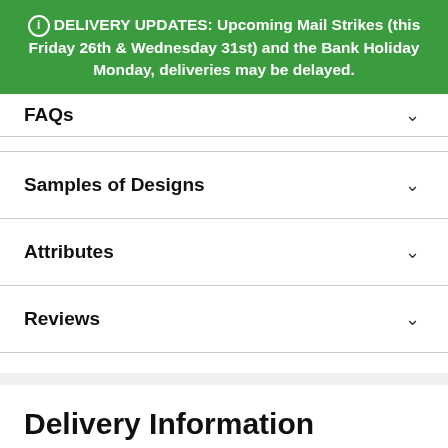ⓘ DELIVERY UPDATES: Upcoming Mail Strikes (this Friday 26th & Wednesday 31st) and the Bank Holiday Monday, deliveries may be delayed.
FAQs
Samples of Designs
Attributes
Reviews
Delivery Information
All kits are handmade to order and we aim to dispatch